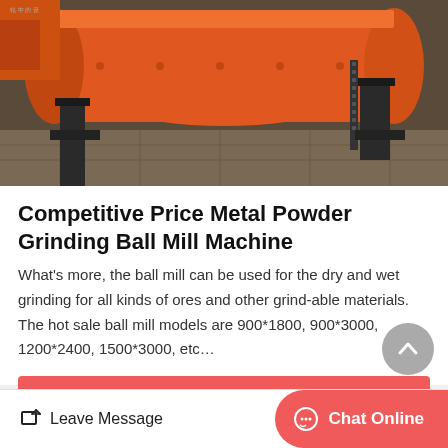[Figure (photo): Industrial orange ball mill machine on a factory floor, showing large cylindrical drum with gearing and support structures.]
Competitive Price Metal Powder Grinding Ball Mill Machine
What's more, the ball mill can be used for the dry and wet grinding for all kinds of ores and other grind-able materials. The hot sale ball mill models are 900*1800, 900*3000, 1200*2400, 1500*3000, etc…
Get Price
[Figure (photo): Partial view of another industrial machine product at the bottom of the page.]
Leave Message
Chat Online